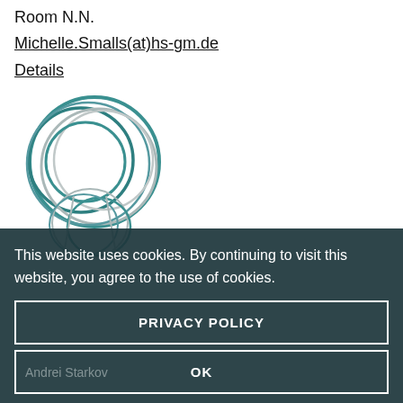Room N.N.
Michelle.Smalls(at)hs-gm.de
Details
[Figure (logo): University logo consisting of overlapping circular rings in teal, gray, and blue tones]
This website uses cookies. By continuing to visit this website, you agree to the use of cookies.
PRIVACY POLICY
OK